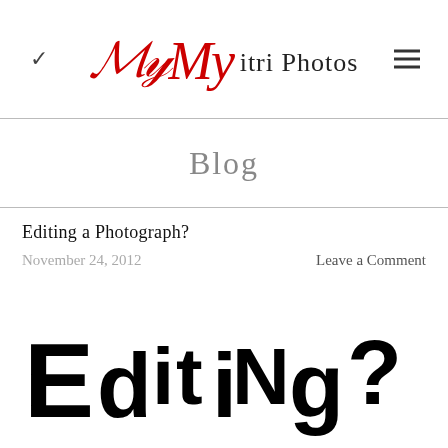My Vitri Photos
Blog
Editing a Photograph?
November 24, 2012   Leave a Comment
[Figure (illustration): The word 'Editing?' rendered in a large, bold, mixed-case decorative/playful black font on a white background]